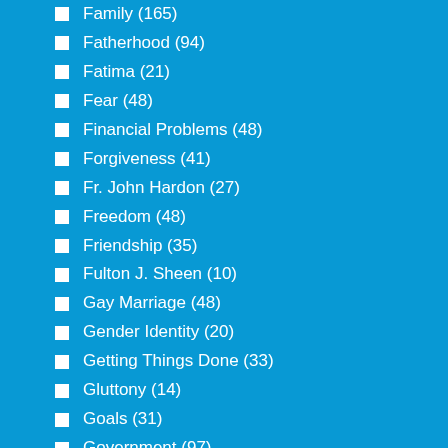Family (165)
Fatherhood (94)
Fatima (21)
Fear (48)
Financial Problems (48)
Forgiveness (41)
Fr. John Hardon (27)
Freedom (48)
Friendship (35)
Fulton J. Sheen (10)
Gay Marriage (48)
Gender Identity (20)
Getting Things Done (33)
Gluttony (14)
Goals (31)
Government (97)
Grandparents (41)
Gratitude (55)
Happiness (90)
Hate (33)
Health and Weight Loss (11)
Health Problems (41)
Heaven (64)
Heroes (18)